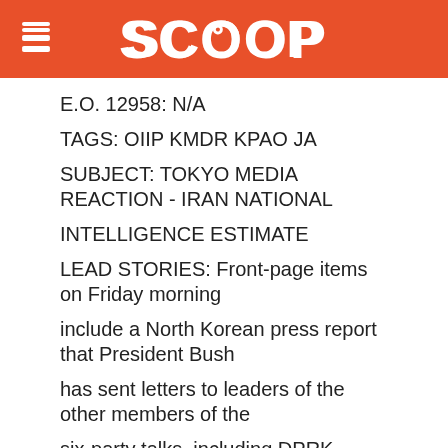SCOOP
E.O. 12958: N/A
TAGS: OIIP KMDR KPAO JA
SUBJECT: TOKYO MEDIA REACTION - IRAN NATIONAL
INTELLIGENCE ESTIMATE
LEAD STORIES: Front-page items on Friday morning
include a North Korean press report that President Bush
has sent letters to leaders of the other members of the
six-party talks, including DPRK leader Kim Jong Il,
calling for promotion of the denuclearization process.
1. "And Then There Was North Korea" The liberal